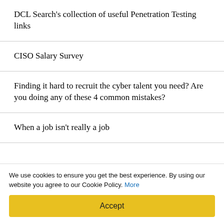DCL Search's collection of useful Penetration Testing links
CISO Salary Survey
Finding it hard to recruit the cyber talent you need? Are you doing any of these 4 common mistakes?
When a job isn't really a job
Latest Jobs
We use cookies to ensure you get the best experience. By using our website you agree to our Cookie Policy. More
Accept